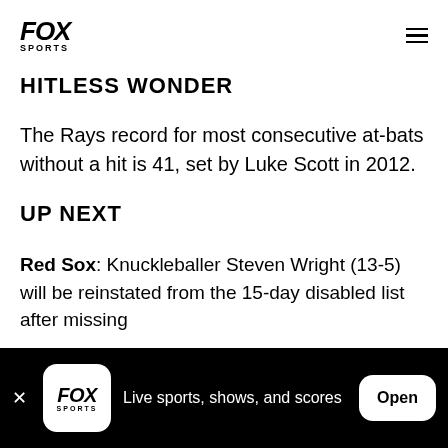FOX SPORTS
HITLESS WONDER
The Rays record for most consecutive at-bats without a hit is 41, set by Luke Scott in 2012.
UP NEXT
Red Sox: Knuckleballer Steven Wright (13-5) will be reinstated from the 15-day disabled list after missing
Live sports, shows, and scores